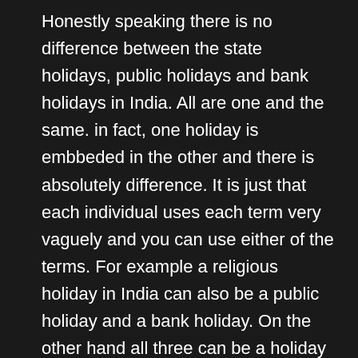Honestly speaking there is no difference between the state holidays, public holidays and bank holidays in India. All are one and the same. in fact, one holiday is embbeded in the other and there is absolutely difference. It is just that each individual uses each term very vaguely and you can use either of the terms. For example a religious holiday in India can also be a public holiday and a bank holiday. On the other hand all three can be a holiday at the same time. In Indian Bank Holidays are basically used as a term to specify that the bank would be closed. Does this mean that all of the private companies and corporations in the country would be closed. Not necessarily so. For example, there are certain religious festivals in India, which are also public holidays in the country and also bank holidays in the country.